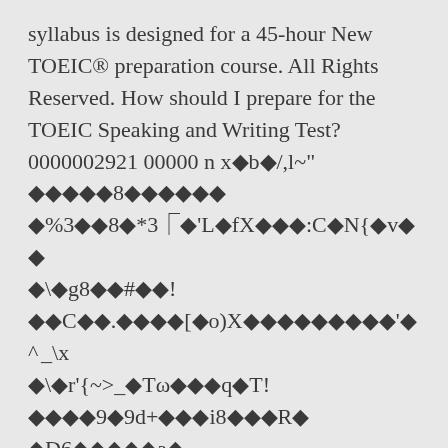syllabus is designed for a 45-hour New TOEIC® preparation course. All Rights Reserved. How should I prepare for the TOEIC Speaking and Writing Test? 0000002921 00000 n x�b�/,l~" �����8������ �%3��8�*3ｂ�'L�fX���:C�N{�v�� �\�g8��#��! ��C��.����[�o)X���������'�^_\x �\�r'{~>_�Tω���q�T! ����9�9d+���i8���R� �D6�����a� �3��h^Z������i�c:%S��y�e���n �t'�=Ns�ZN��S�9��)�_&�����jJ. Not only that, but this test should include speaking responses and essay samples so you